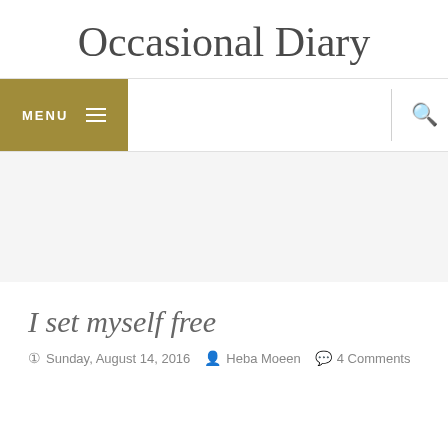Occasional Diary
[Figure (screenshot): Navigation bar with gold MENU button with hamburger icon on the left, vertical divider, and search magnifying glass icon on the right]
[Figure (other): Gray background advertising/banner area]
I set myself free
Sunday, August 14, 2016  Heba Moeen  4 Comments